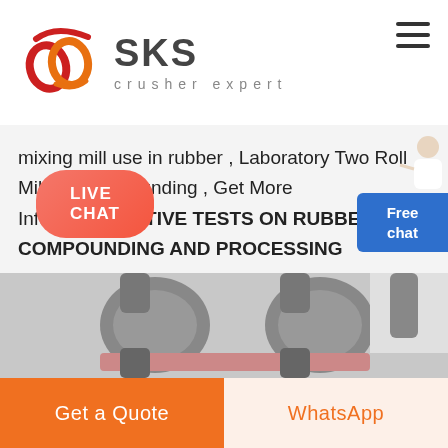[Figure (logo): SKS crusher expert logo with red/orange interlinked rings graphic and bold SKS text, 'crusher expert' tagline below]
mixing mill use in rubber , Laboratory Two Roll Mill for Compounding , Get More InfoCOMPARATIVE TESTS ON RUBBER COMPOUNDING AND PROCESSING Compounding 20 kg rubber masterbatch was prepared on a water-cooled, two-roll mill using.
[Figure (infographic): Free chat button box in blue with person/assistant illustration to the right]
[Figure (photo): Photo of industrial two-roll rubber mill machinery with metal rollers and pink rubber sheet]
LIVE CHAT
Get a Quote
WhatsApp